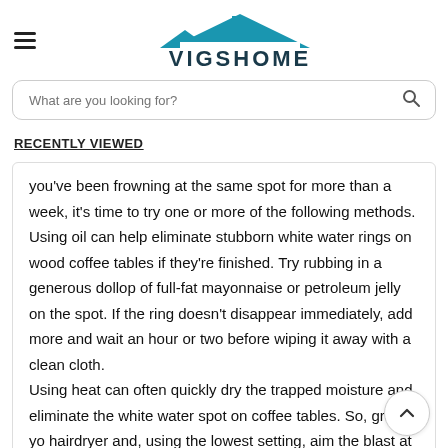[Figure (logo): VIGSHOME logo with house/roof icon in teal above bold uppercase text]
What are you looking for?
RECENTLY VIEWED
you've been frowning at the same spot for more than a week, it's time to try one or more of the following methods.
Using oil can help eliminate stubborn white water rings on wood coffee tables if they're finished. Try rubbing in a generous dollop of full-fat mayonnaise or petroleum jelly on the spot. If the ring doesn't disappear immediately, add more and wait an hour or two before wiping it away with a clean cloth.
Using heat can often quickly dry the trapped moisture and eliminate the white water spot on coffee tables. So, grab your hairdryer and, using the lowest setting, aim the blast at the ring.